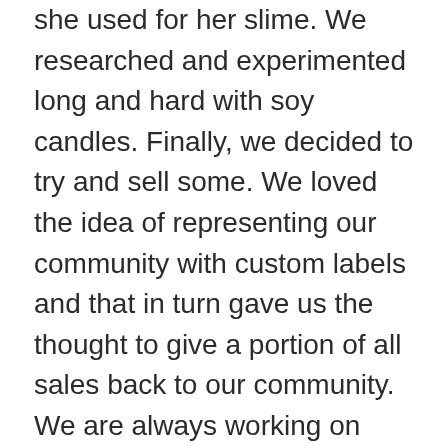she used for her slime. We researched and experimented long and hard with soy candles. Finally, we decided to try and sell some. We loved the idea of representing our community with custom labels and that in turn gave us the thought to give a portion of all sales back to our community. We are always working on new ideas and improvements. We are so grateful to our family, friends and our community's support.
Links
Home
Shop Now
Privacy Policy
Terms of Service